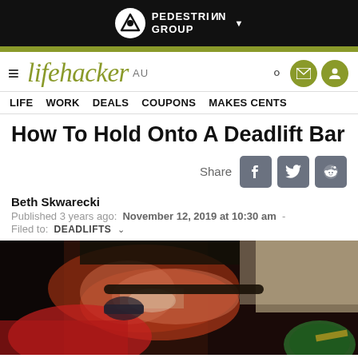PEDESTRIAN GROUP
[Figure (logo): Lifehacker AU logo with navigation bar including hamburger menu, search, mail, and profile icons]
LIFE   WORK   DEALS   COUPONS   MAKES CENTS
How To Hold Onto A Deadlift Bar
Share [Facebook] [Twitter] [Reddit]
Beth Skwarecki
Published 3 years ago: November 12, 2019 at 10:30 am -
Filed to: DEADLIFTS
[Figure (photo): Close-up photo of hands gripping a deadlift bar with chalk, wearing red wrist wraps, with weight plates visible]